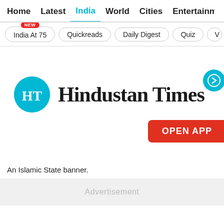Home  Latest  India  World  Cities  Entertainment
India At 75 NEW
Quickreads
Daily Digest
Quiz
[Figure (logo): Hindustan Times logo with teal HT circle and blackletter wordmark]
An Islamic State banner.
Advertisement